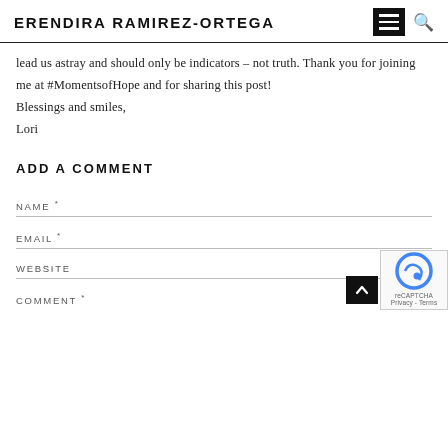ERENDIRA RAMIREZ-ORTEGA
lead us astray and should only be indicators – not truth. Thank you for joining me at #MomentsofHope and for sharing this post!
Blessings and smiles,
Lori
ADD A COMMENT
NAME *
EMAIL *
WEBSITE
COMMENT *